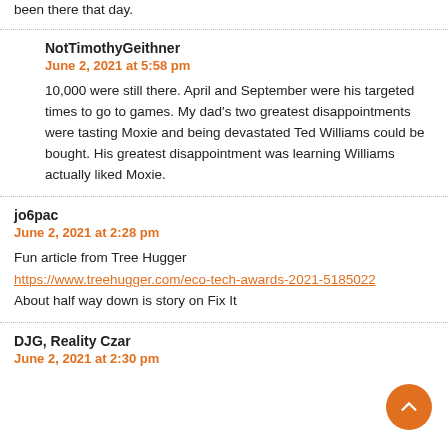been there that day.
NotTimothyGeithner
June 2, 2021 at 5:58 pm
10,000 were still there. April and September were his targeted times to go to games. My dad's two greatest disappointments were tasting Moxie and being devastated Ted Williams could be bought. His greatest disappointment was learning Williams actually liked Moxie.
jo6pac
June 2, 2021 at 2:28 pm
Fun article from Tree Hugger
https://www.treehugger.com/eco-tech-awards-2021-5185022
About half way down is story on Fix It
DJG, Reality Czar
June 2, 2021 at 2:30 pm